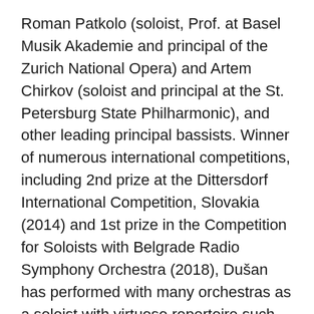Roman Patkolo (soloist, Prof. at Basel Musik Akademie and principal of the Zurich National Opera) and Artem Chirkov (soloist and principal at the St. Petersburg State Philharmonic), and other leading principal bassists. Winner of numerous international competitions, including 2nd prize at the Dittersdorf International Competition, Slovakia (2014) and 1st prize in the Competition for Soloists with Belgrade Radio Symphony Orchestra (2018), Dušan has performed with many orchestras as a soloist with virtuoso repertoire such as Bottessini Grand Duo Concertante and Paganini's Moses Variations. Dušan was a member and the soloist of the prestigious youth string ensemble LGT Young Soloists in Lichtenstein, and as principal with Ljubljana International Orchestra, Sistema Europe Youth Orchestra, Belgrade Symphony Orchestra, CEI European Youth Orchestra, Ćuprija Chamber Orchestra, Bolshoi Festival Orchestra,